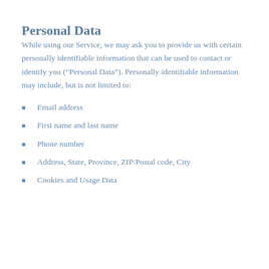Personal Data
While using our Service, we may ask you to provide us with certain personally identifiable information that can be used to contact or identify you (“Personal Data”). Personally identifiable information may include, but is not limited to:
Email address
First name and last name
Phone number
Address, State, Province, ZIP/Postal code, City
Cookies and Usage Data